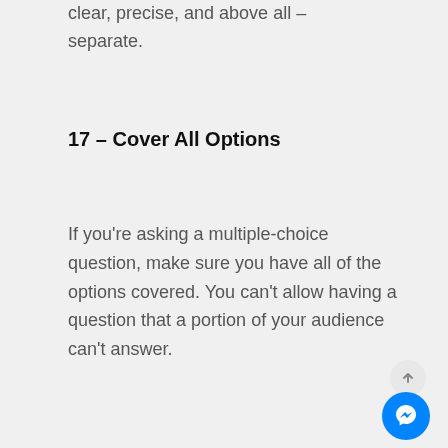clear, precise, and above all – separate.
17 – Cover All Options
If you're asking a multiple-choice question, make sure you have all of the options covered. You can't allow having a question that a portion of your audience can't answer.